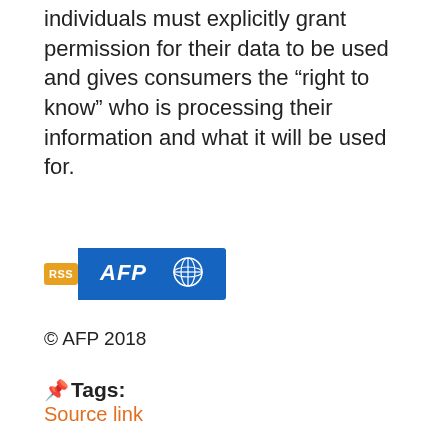individuals must explicitly grant permission for their data to be used and gives consumers the “right to know” who is processing their information and what it will be used for.
[Figure (logo): RSS badge followed by AFP globe logo on blue background]
© AFP 2018
📎Tags:
Source link